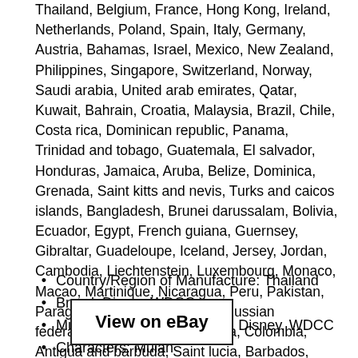Thailand, Belgium, France, Hong Kong, Ireland, Netherlands, Poland, Spain, Italy, Germany, Austria, Bahamas, Israel, Mexico, New Zealand, Philippines, Singapore, Switzerland, Norway, Saudi arabia, United arab emirates, Qatar, Kuwait, Bahrain, Croatia, Malaysia, Brazil, Chile, Costa rica, Dominican republic, Panama, Trinidad and tobago, Guatemala, El salvador, Honduras, Jamaica, Aruba, Belize, Dominica, Grenada, Saint kitts and nevis, Turks and caicos islands, Bangladesh, Brunei darussalam, Bolivia, Ecuador, Egypt, French guiana, Guernsey, Gibraltar, Guadeloupe, Iceland, Jersey, Jordan, Cambodia, Liechtenstein, Luxembourg, Monaco, Macao, Martinique, Nicaragua, Peru, Pakistan, Paraguay, Viet nam, Uruguay, Russian federation, Canada, South africa, Colombia, Antigua and barbuda, Saint lucia, Barbados, Bermuda, Cayman islands, Sri lanka, Maldives, Oman, Reunion, Montserrat, Ukraine.
Country/Region of Manufacture: Thailand
Brand: Disney WDCC
Mulan, Honorable, decision: Disney, WDCC
Characters: Mulan
Movie Title: Mulan
[Figure (other): View on eBay button]